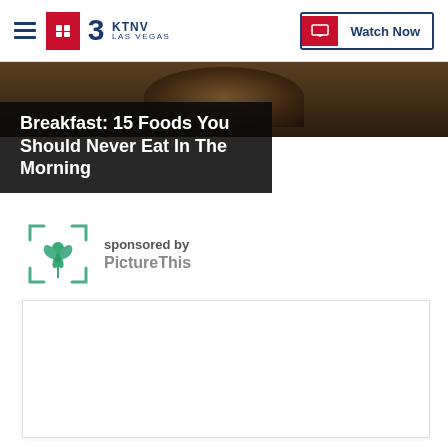KTNV LAS VEGAS | Watch Now
Breakfast: 15 Foods You Should Never Eat In The Morning
sponsored by PictureThis
[Figure (other): Advertisement placeholder box (white rectangle with border)]